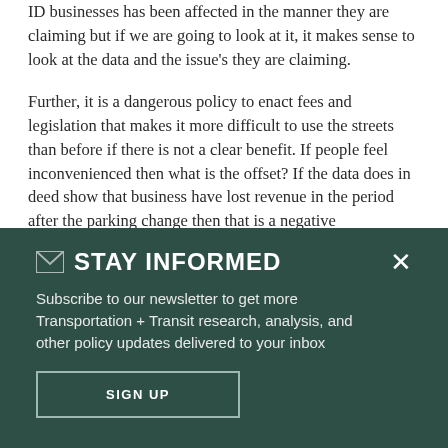ID businesses has been affected in the manner they are claiming but if we are going to look at it, it makes sense to look at the data and the issue's they are claiming.
Further, it is a dangerous policy to enact fees and legislation that makes it more difficult to use the streets than before if there is not a clear benefit. If people feel inconvenienced then what is the offset? If the data does in deed show that business have lost revenue in the period after the parking change then that is a negative
STAY INFORMED
Subscribe to our newsletter to get more Transportation + Transit research, analysis, and other policy updates delivered to your inbox
SIGN UP